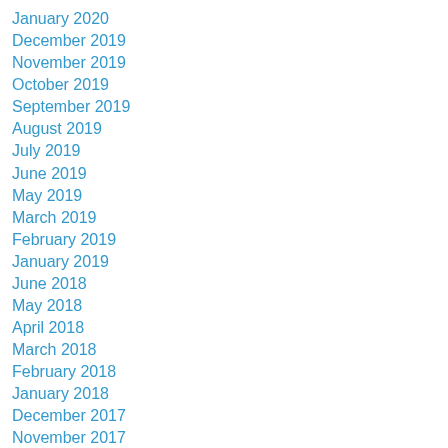January 2020
December 2019
November 2019
October 2019
September 2019
August 2019
July 2019
June 2019
May 2019
March 2019
February 2019
January 2019
June 2018
May 2018
April 2018
March 2018
February 2018
January 2018
December 2017
November 2017